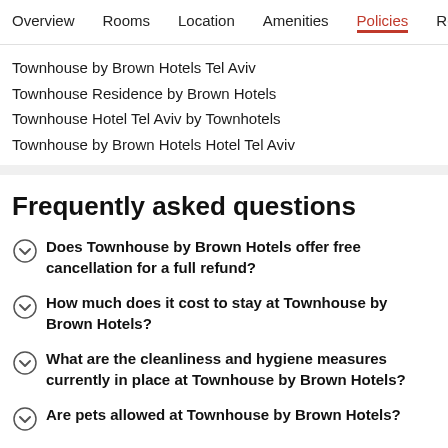Overview   Rooms   Location   Amenities   Policies   Reviews
Townhouse by Brown Hotels Tel Aviv
Townhouse Residence by Brown Hotels
Townhouse Hotel Tel Aviv by Townhotels
Townhouse by Brown Hotels Hotel Tel Aviv
Frequently asked questions
Does Townhouse by Brown Hotels offer free cancellation for a full refund?
How much does it cost to stay at Townhouse by Brown Hotels?
What are the cleanliness and hygiene measures currently in place at Townhouse by Brown Hotels?
Are pets allowed at Townhouse by Brown Hotels?
Is parking offered on site at Townhouse by Brown